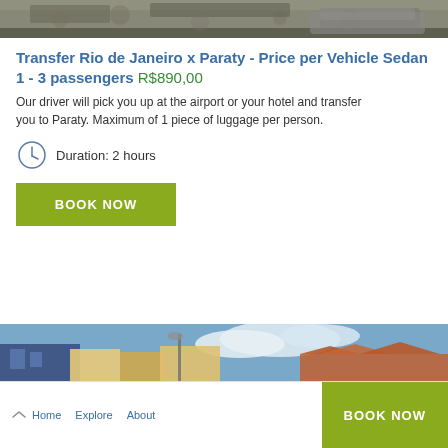[Figure (photo): Top portion of a vehicle/car photo, partially visible at the top of the page]
Transfer Rio de Janeiro x Paraty - Price per Vehicle Sedan 1 - 3 passengers R$890,00
Our driver will pick you up at the airport or your hotel and transfer you to Paraty. Maximum of 1 piece of luggage per person.
Duration: 2 hours
BOOK NOW
[Figure (photo): Bottom photo showing colorful buildings and rooftops in what appears to be Paraty, Brazil, with blue sky and clouds]
Home   Explore   About   BOOK NOW